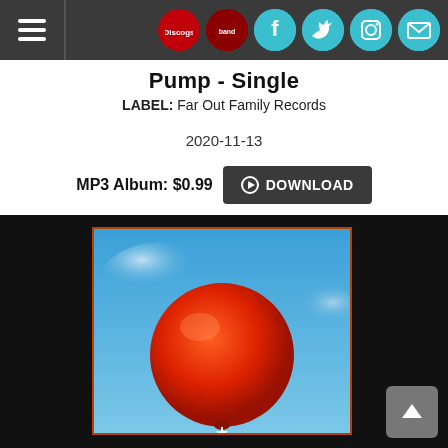Navigation bar with hamburger menu and social icons: Discogs, Bandcamp, Facebook, Twitter, Instagram, Mail
Pump - Single
LABEL: Far Out Family Records
2020-11-13
MP3 Album: $0.99  DOWNLOAD
[Figure (photo): Album art for Pump - Single: a large red/orange balloon or sphere against a blue sky background, shown inside a dark frame on a black background. A small white arrow/cursor shape is visible at the bottom of the balloon.]